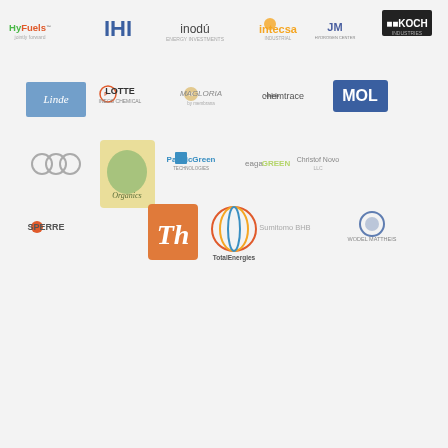[Figure (logo): Grid of company logos: HyFuels, IHI, inodú, intecsa, JM, KOCH (row 1); Linde, LOTTE, Magloria, Chemtrace, MOL (row 2); OGS, Organics, PacificGreen, EAGA, Christof Novo (row 3); Sperre, Th, TotalEnergies, Sumitomo BHB, Wodel Mattheis (row 4)]